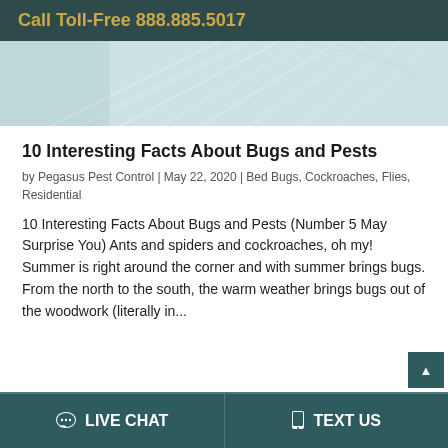Call Toll-Free 888.885.5017
[Figure (photo): Close-up photo of thin pale blue/white radiating lines or fibers, likely spider web or tent fabric]
10 Interesting Facts About Bugs and Pests
by Pegasus Pest Control | May 22, 2020 | Bed Bugs, Cockroaches, Flies, Residential
10 Interesting Facts About Bugs and Pests (Number 5 May Surprise You) Ants and spiders and cockroaches, oh my! Summer is right around the corner and with summer brings bugs. From the north to the south, the warm weather brings bugs out of the woodwork (literally in...
LIVE CHAT   TEXT US